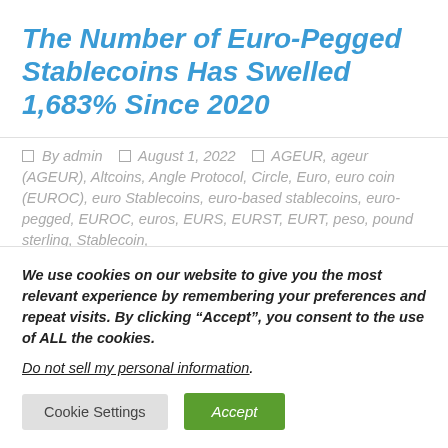The Number of Euro-Pegged Stablecoins Has Swelled 1,683% Since 2020
By admin   August 1, 2022   AGEUR, ageur (AGEUR), Altcoins, Angle Protocol, Circle, Euro, euro coin (EUROC), euro Stablecoins, euro-based stablecoins, euro-pegged, EUROC, euros, EURS, EURST, EURT, peso, pound sterling, Stablecoin,
We use cookies on our website to give you the most relevant experience by remembering your preferences and repeat visits. By clicking “Accept”, you consent to the use of ALL the cookies.
Do not sell my personal information.